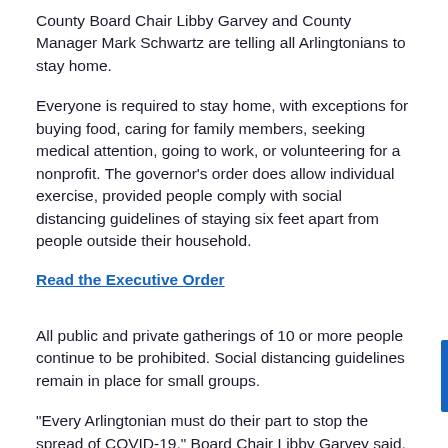County Board Chair Libby Garvey and County Manager Mark Schwartz are telling all Arlingtonians to stay home.
Everyone is required to stay home, with exceptions for buying food, caring for family members, seeking medical attention, going to work, or volunteering for a nonprofit. The governor's order does allow individual exercise, provided people comply with social distancing guidelines of staying six feet apart from people outside their household.
Read the Executive Order
All public and private gatherings of 10 or more people continue to be prohibited. Social distancing guidelines remain in place for small groups.
"Every Arlingtonian must do their part to stop the spread of COVID-19," Board Chair Libby Garvey said. "It will take all of